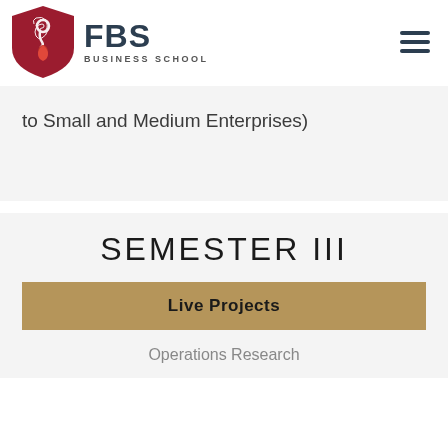[Figure (logo): FBS Business School logo with red shield containing stylized letter and 'FBS BUSINESS SCHOOL' text beside it]
to Small and Medium Enterprises)
SEMESTER III
Live Projects
Operations Research